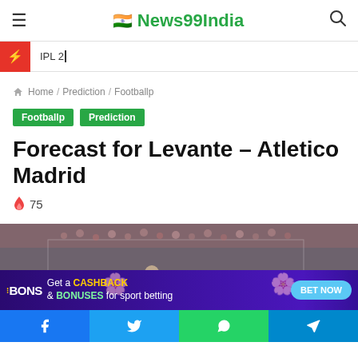News99India
IPL 2_
Home / Prediction / Footballp
Footballp
Prediction
Forecast for Levante – Atletico Madrid
75
[Figure (photo): Football players on pitch with crowd in background]
[Figure (infographic): BONS ad banner: Get a CASHBACK & BONUSES for sport betting - BET NOW button]